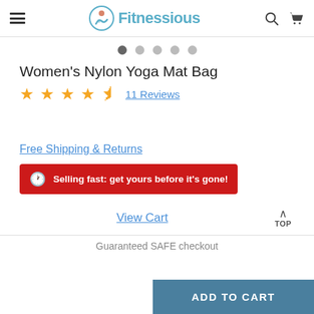Fitnessious
[Figure (screenshot): Carousel dot indicators — 5 dots, first one active (dark), rest grey]
Women's Nylon Yoga Mat Bag
★★★★½  11 Reviews
Free Shipping & Returns
🕐 Selling fast: get yours before it's gone!
View Cart
Guaranteed SAFE checkout
ADD TO CART